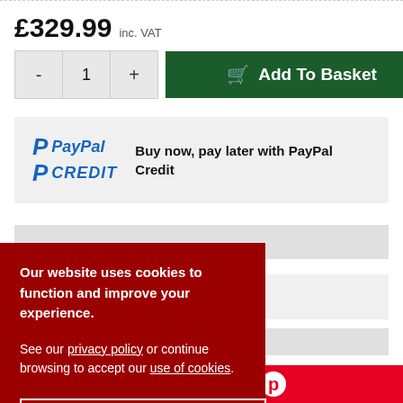£329.99 inc. VAT
- 1 + Add To Basket
Buy now, pay later with PayPal Credit
king days
Our website uses cookies to function and improve your experience.

See our privacy policy or continue browsing to accept our use of cookies.
Accept & Close